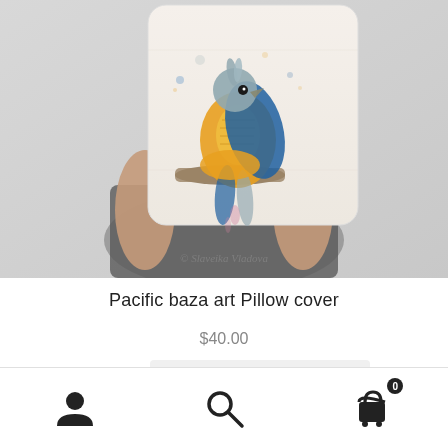[Figure (photo): A person holding a white pillow cover featuring a watercolor illustration of a Pacific baza bird perched on a branch, with blue and golden-yellow plumage. Watermark reads '© Slaveiika Vladova'.]
Pacific baza art Pillow cover
$40.00
Add to cart